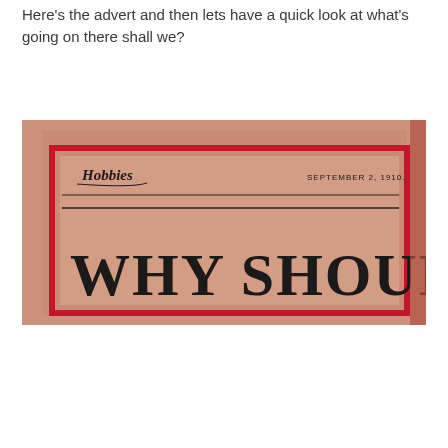Here's the advert and then lets have a quick look at what's going on there shall we?
[Figure (photo): Photograph of an old magazine page from 'Hobbies', dated September 2, 1910, showing the beginning of an advertisement headline that reads 'WHY SHOULD YOU' in large bold serif type, with a red border frame around the ad area.]